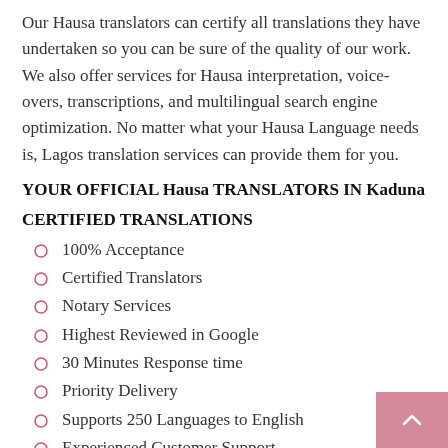Our Hausa translators can certify all translations they have undertaken so you can be sure of the quality of our work. We also offer services for Hausa interpretation, voice-overs, transcriptions, and multilingual search engine optimization. No matter what your Hausa Language needs is, Lagos translation services can provide them for you.
YOUR OFFICIAL Hausa TRANSLATORS IN Kaduna
CERTIFIED TRANSLATIONS
100% Acceptance
Certified Translators
Notary Services
Highest Reviewed in Google
30 Minutes Response time
Priority Delivery
Supports 250 Languages to English
Experienced Customer Support